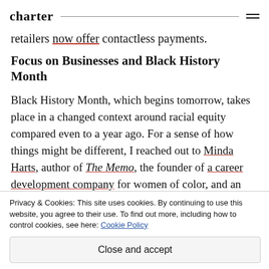charter
retailers now offer contactless payments.
Focus on Businesses and Black History Month
Black History Month, which begins tomorrow, takes place in a changed context around racial equity compared even to a year ago. For a sense of how things might be different, I reached out to Minda Harts, author of The Memo, the founder of a career development company for women of color, and an adjunct assistant professor at NYU. Here’s what she
Privacy & Cookies: This site uses cookies. By continuing to use this website, you agree to their use. To find out more, including how to control cookies, see here: Cookie Policy
Close and accept